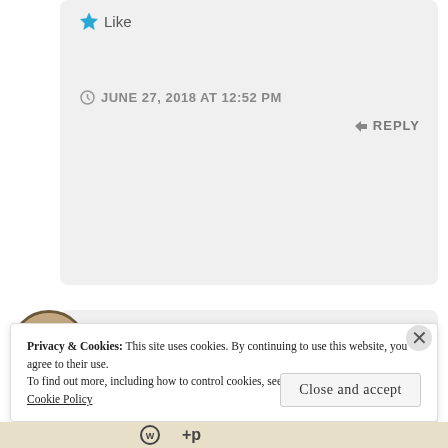[Figure (screenshot): Like button with star icon]
JUNE 27, 2018 AT 12:52 PM
REPLY
[Figure (photo): Circular avatar image of commenter Jo Price]
Jo Price
I love the visual and I
Privacy & Cookies: This site uses cookies. By continuing to use this website, you agree to their use.
To find out more, including how to control cookies, see here:
Cookie Policy
Close and accept